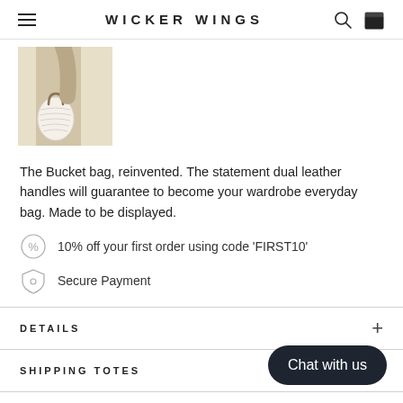WICKER WINGS
[Figure (photo): Product photo of a beige/tan bucket bag with leather handles, worn by a model in neutral tones]
The Bucket bag, reinvented. The statement dual leather handles will guarantee to become your wardrobe everyday bag. Made to be displayed.
10% off your first order using code 'FIRST10'
Secure Payment
DETAILS
SHIPPING TOTES
Chat with us